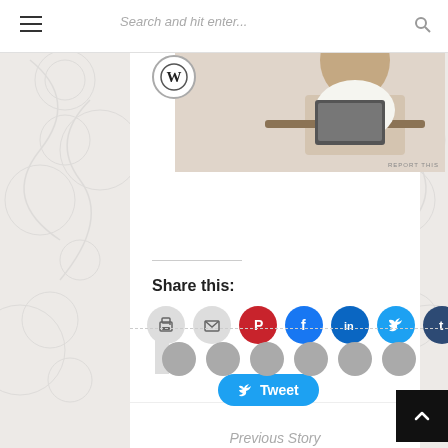Search and hit enter...
[Figure (screenshot): WordPress website screenshot showing top navigation with hamburger menu, search bar, WordPress logo, and a photo of a person at a laptop]
REPORT THIS
Share this:
[Figure (infographic): Social sharing buttons: print, email, Pinterest, Facebook, LinkedIn, Twitter, Tumblr]
[Figure (infographic): Tweet button with Twitter bird icon]
[Figure (infographic): Row of 6 gray social media icon circles in footer area]
Previous Story